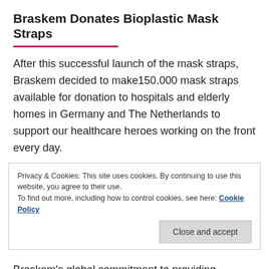Braskem Donates Bioplastic Mask Straps
After this successful launch of the mask straps, Braskem decided to make150.000 mask straps available for donation to hospitals and elderly homes in Germany and The Netherlands to support our healthcare heroes working on the front every day.
Privacy & Cookies: This site uses cookies. By continuing to use this website, you agree to their use.
To find out more, including how to control cookies, see here: Cookie Policy
Close and accept
Braskem's global commitment to providing sustainable solutions.